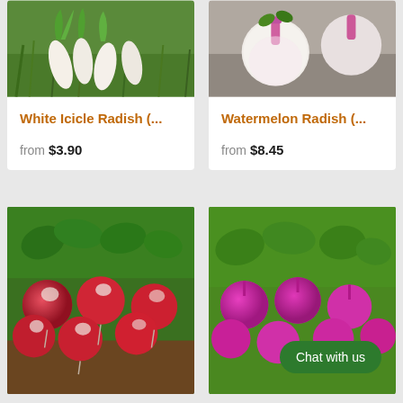[Figure (photo): White Icicle Radish photo — elongated white radishes with green leafy tops on grass]
[Figure (photo): Watermelon Radish photo — round white/pink radishes with pink-magenta stems]
White Icicle Radish (... from $3.90
Watermelon Radish (... from $8.45
[Figure (photo): Bunch of round red and white radishes with green leafy tops]
[Figure (photo): Bunch of bright magenta/pink radishes with green leafy tops, with Chat with us button overlay]